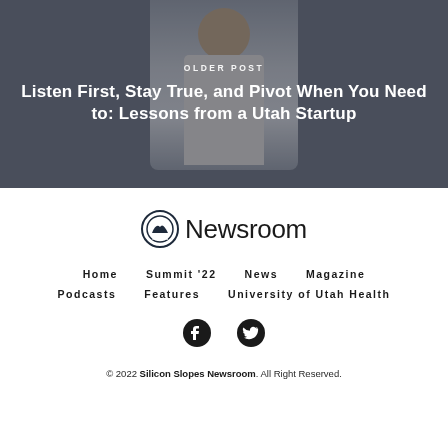OLDER POST
Listen First, Stay True, and Pivot When You Need to: Lessons from a Utah Startup
[Figure (logo): Silicon Slopes Newsroom logo with circular emblem and text 'Newsroom']
Home   Summit '22   News   Magazine   Podcasts   Features   University of Utah Health
[Figure (illustration): Facebook and Twitter social media icons]
© 2022 Silicon Slopes Newsroom. All Right Reserved.